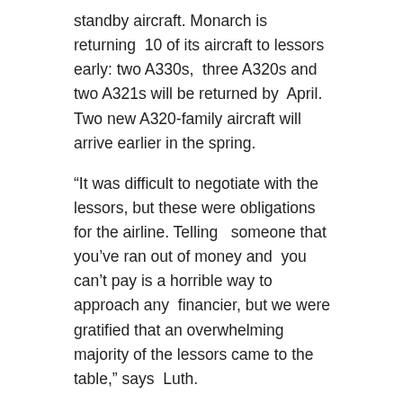standby aircraft. Monarch is returning 10 of its aircraft to lessors early: two A330s, three A320s and two A321s will be returned by April. Two new A320-family aircraft will arrive earlier in the spring.
“It was difficult to negotiate with the lessors, but these were obligations for the airline. Telling someone that you’ve ran out of money and you can’t pay is a horrible way to approach any financier, but we were gratified that an overwhelming majority of the lessors came to the table,” says Luth.
Monarch is going through a long-term transition from an all-Airbus fleet to an all-Boeing fleet. By 2020 Monarch will have 30 new Boeing 737 Max 8 aircraft, with the first one is being delivered in April 2018. The deal is estimated to be worth $3.2 billion, based on present list prices. But how does Swaffield intend to compete in a market dominated by airlines that offer low-cost fares?